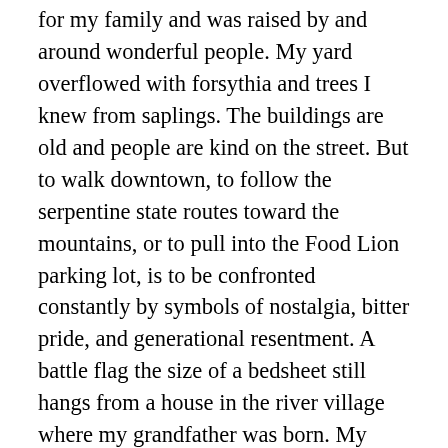for my family and was raised by and around wonderful people. My yard overflowed with forsythia and trees I knew from saplings. The buildings are old and people are kind on the street. But to walk downtown, to follow the serpentine state routes toward the mountains, or to pull into the Food Lion parking lot, is to be confronted constantly by symbols of nostalgia, bitter pride, and generational resentment. A battle flag the size of a bedsheet still hangs from a house in the river village where my grandfather was born. My wedding reception was on ground once maintained by slaves. Robert E. Lee tied Traveler to a locust in back of a church in town and knelt in a pew that sits preserved behind the organ. I left the place seven years ago, got in my dad's truck and rode with my desk and books and guitar and girlfriend (now wife) to a south-Brooklyn basement. My sisters live in New York, too, and we watched from a distance as the college town to which my parents took us on Saturday afternoons for movies and pizza